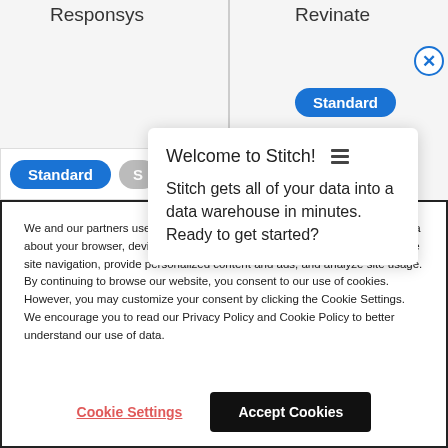[Figure (screenshot): Background UI showing a comparison table with Responsys and Revinate column headers, Standard buttons, and a welcome popup card for Stitch with menu icon, title 'Welcome to Stitch!' and body text about getting data into a data warehouse.]
Welcome to Stitch! 
Stitch gets all of your data into a data warehouse in minutes. Ready to get started?
We and our partners use tracking technologies such as cookies to collect data about your browser, device, and location to make our websites work, enhance site navigation, provide personalized content and ads, and analyze site usage. By continuing to browse our website, you consent to our use of cookies. However, you may customize your consent by clicking the Cookie Settings. We encourage you to read our Privacy Policy and Cookie Policy to better understand our use of data.
Cookie Settings
Accept Cookies